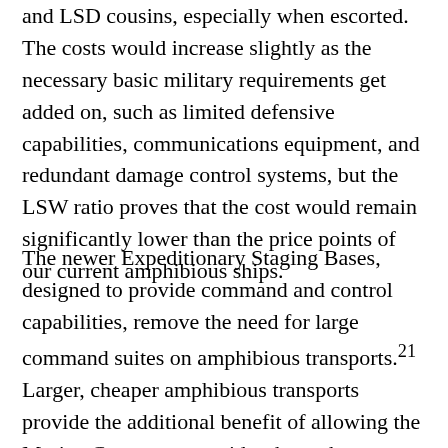and LSD cousins, especially when escorted. The costs would increase slightly as the necessary basic military requirements get added on, such as limited defensive capabilities, communications equipment, and redundant damage control systems, but the LSW ratio proves that the cost would remain significantly lower than the price points of our current amphibious ships.
The newer Expeditionary Staging Bases, designed to provide command and control capabilities, remove the need for large command suites on amphibious transports.21 Larger, cheaper amphibious transports provide the additional benefit of allowing the Marine Corps to reconsider the seaborne structure of the Marine Expeditionary Unit, which it wants to do, enabling it to leverage smaller platforms like the LCS or Joint High Speed Vessels for the alignment to the forces...